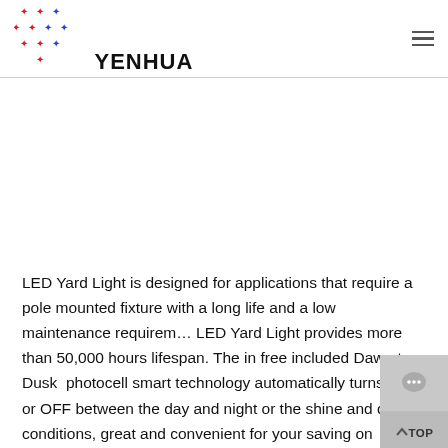[Figure (logo): Yenhua logo: grid of red and blue cross/plus dots on left, bold text YENHUA on right]
LED Yard Light is designed for applications that require a pole mounted fixture with a long life and a low maintenance requirement. LED Yard Light provides more than 50,000 hours lifespan. The in free included Dawn to Dusk photocell smart technology automatically turns ON or OFF between the day and night or the shine and dark conditions, great and convenient for your saving on electricity bills and daily life! It very easy to install and optimum for